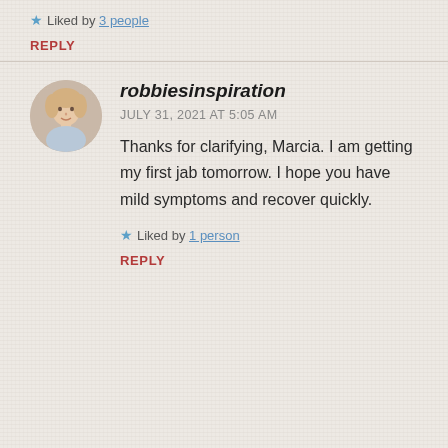★ Liked by 3 people
REPLY
[Figure (photo): Circular avatar photo of a blonde woman]
robbiesinspiration
JULY 31, 2021 AT 5:05 AM
Thanks for clarifying, Marcia. I am getting my first jab tomorrow. I hope you have mild symptoms and recover quickly.
★ Liked by 1 person
REPLY